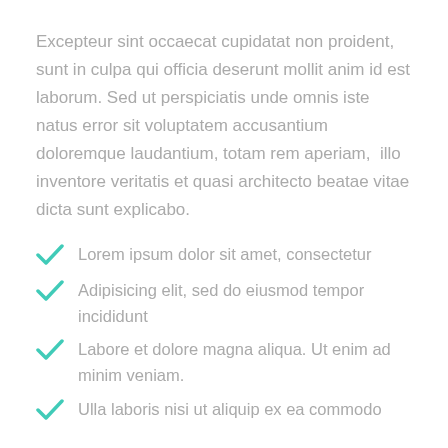Excepteur sint occaecat cupidatat non proident, sunt in culpa qui officia deserunt mollit anim id est laborum. Sed ut perspiciatis unde omnis iste natus error sit voluptatem accusantium doloremque laudantium, totam rem aperiam,  illo inventore veritatis et quasi architecto beatae vitae dicta sunt explicabo.
Lorem ipsum dolor sit amet, consectetur
Adipisicing elit, sed do eiusmod tempor incididunt
Labore et dolore magna aliqua. Ut enim ad minim veniam.
Ulla laboris nisi ut aliquip ex ea commodo